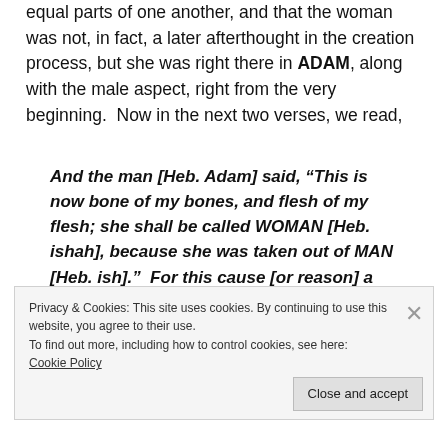equal parts of one another, and that the woman was not, in fact, a later afterthought in the creation process, but she was right there in ADAM, along with the male aspect, right from the very beginning.  Now in the next two verses, we read,
And the man [Heb. Adam] said, “This is now bone of my bones, and flesh of my flesh; she shall be called WOMAN [Heb. ishah], because she was taken out of MAN [Heb. ish].”  For this cause [or reason] a MAN [Heb. ish] shall leave his father and mother, and shall cleave to his WIFE [Heb. ishah]; and they shall
Privacy & Cookies: This site uses cookies. By continuing to use this website, you agree to their use.
To find out more, including how to control cookies, see here: Cookie Policy
Close and accept